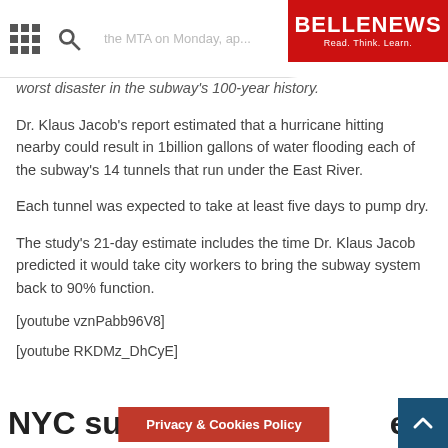BELLENEWS — Read. Think. Learn.
worst disaster in the subway's 100-year history.
Dr. Klaus Jacob's report estimated that a hurricane hitting nearby could result in 1billion gallons of water flooding each of the subway's 14 tunnels that run under the East River.
Each tunnel was expected to take at least five days to pump dry.
The study's 21-day estimate includes the time Dr. Klaus Jacob predicted it would take city workers to bring the subway system back to 90% function.
[youtube vznPabb96V8]
[youtube RKDMz_DhCyE]
NYC subway, bu...ervices